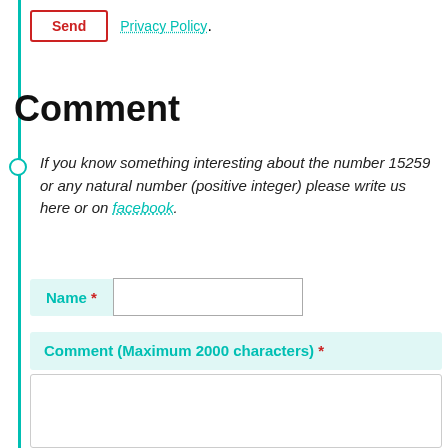Send  Privacy Policy.
Comment
If you know something interesting about the number 15259 or any natural number (positive integer) please write us here or on facebook.
Name *
Comment (Maximum 2000 characters) *